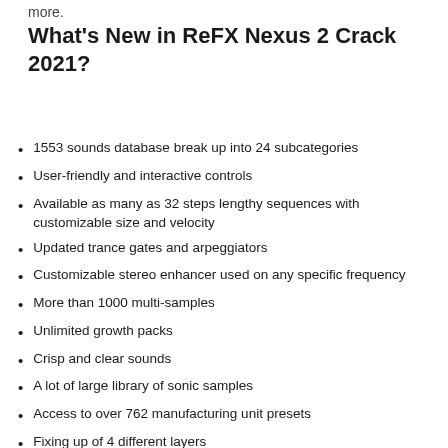more.
What's New in ReFX Nexus 2 Crack 2021?
1553 sounds database break up into 24 subcategories
User-friendly and interactive controls
Available as many as 32 steps lengthy sequences with customizable size and velocity
Updated trance gates and arpeggiators
Customizable stereo enhancer used on any specific frequency
More than 1000 multi-samples
Unlimited growth packs
Crisp and clear sounds
A lot of large library of sonic samples
Access to over 762 manufacturing unit presets
Fixing up of 4 different layers
Stereo enhancer